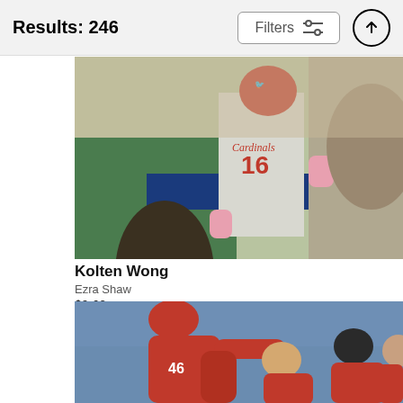Results: 246
Filters
[Figure (photo): Baseball player Kolten Wong wearing St. Louis Cardinals uniform number 16, bat in hand, mid-swing or running. Background shows Bank of America advertisement banner and crowd.]
Kolten Wong
Ezra Shaw
$9.62
[Figure (photo): Baseball players in red uniforms celebrating together on the field, players hugging and piling on each other. Crowd visible in the background.]